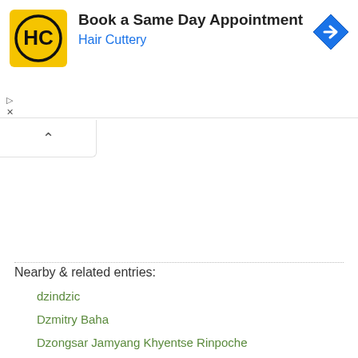[Figure (other): Hair Cuttery advertisement banner with yellow logo showing 'HC' inside a circle, title 'Book a Same Day Appointment', company name 'Hair Cuttery' in blue, and a blue diamond navigation icon on the right.]
Nearby & related entries:
dzindzic
Dzmitry Baha
Dzongsar Jamyang Khyentse Rinpoche